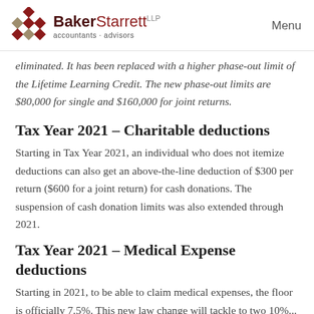BakerStarrett LLP accountants · advisors | Menu
eliminated. It has been replaced with a higher phase-out limit of the Lifetime Learning Credit. The new phase-out limits are $80,000 for single and $160,000 for joint returns.
Tax Year 2021 – Charitable deductions
Starting in Tax Year 2021, an individual who does not itemize deductions can also get an above-the-line deduction of $300 per return ($600 for a joint return) for cash donations. The suspension of cash donation limits was also extended through 2021.
Tax Year 2021 – Medical Expense deductions
Starting in 2021, to be able to claim medical expenses, the floor is officially 7.5%. This new law change will tackle to two 10%...